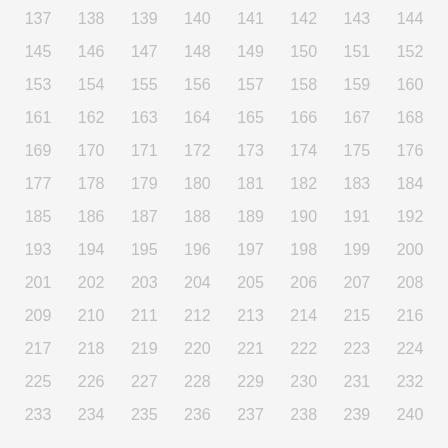| 137 | 138 | 139 | 140 | 141 | 142 | 143 | 144 |
| 145 | 146 | 147 | 148 | 149 | 150 | 151 | 152 |
| 153 | 154 | 155 | 156 | 157 | 158 | 159 | 160 |
| 161 | 162 | 163 | 164 | 165 | 166 | 167 | 168 |
| 169 | 170 | 171 | 172 | 173 | 174 | 175 | 176 |
| 177 | 178 | 179 | 180 | 181 | 182 | 183 | 184 |
| 185 | 186 | 187 | 188 | 189 | 190 | 191 | 192 |
| 193 | 194 | 195 | 196 | 197 | 198 | 199 | 200 |
| 201 | 202 | 203 | 204 | 205 | 206 | 207 | 208 |
| 209 | 210 | 211 | 212 | 213 | 214 | 215 | 216 |
| 217 | 218 | 219 | 220 | 221 | 222 | 223 | 224 |
| 225 | 226 | 227 | 228 | 229 | 230 | 231 | 232 |
| 233 | 234 | 235 | 236 | 237 | 238 | 239 | 240 |